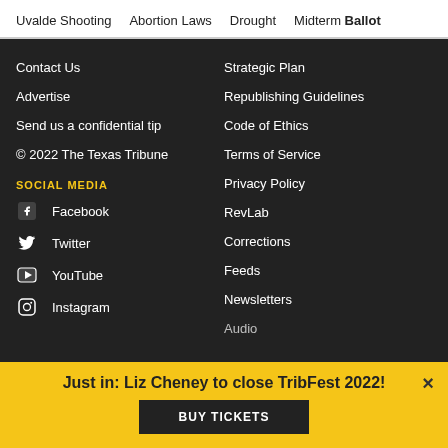Uvalde Shooting   Abortion Laws   Drought   Midterm Ballot
Contact Us
Advertise
Send us a confidential tip
© 2022 The Texas Tribune
SOCIAL MEDIA
Facebook
Twitter
YouTube
Instagram
Strategic Plan
Republishing Guidelines
Code of Ethics
Terms of Service
Privacy Policy
RevLab
Corrections
Feeds
Newsletters
Audio
Just in: Liz Cheney to close TribFest 2022!
BUY TICKETS